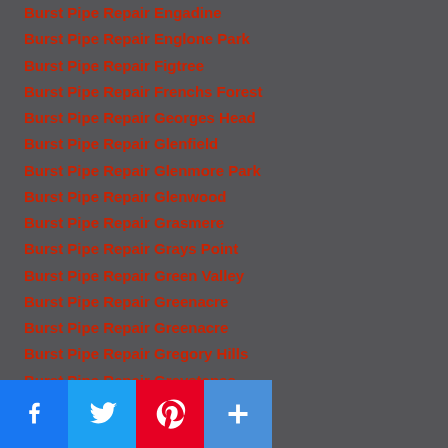Burst Pipe Repair Engadine
Burst Pipe Repair Englone Park
Burst Pipe Repair Figtree
Burst Pipe Repair Frenchs Forest
Burst Pipe Repair Georges Head
Burst Pipe Repair Glenfield
Burst Pipe Repair Glenmore Park
Burst Pipe Repair Glenwood
Burst Pipe Repair Grasmere
Burst Pipe Repair Grays Point
Burst Pipe Repair Green Valley
Burst Pipe Repair Greenacre
Burst Pipe Repair Greenacre
Burst Pipe Repair Gregory Hills
Burst Pipe Repair Greystanes
Burst Pipe Repair Guildford
Burst Pipe Repair Hammondville
Burst Pipe Repair Hampton Park
Burst Pipe Repair Heathcote